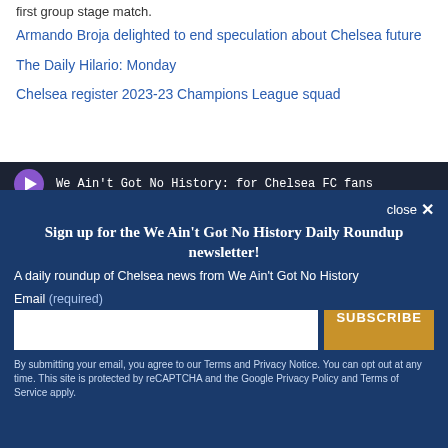first group stage match.
Armando Broja delighted to end speculation about Chelsea future
The Daily Hilario: Monday
Chelsea register 2023-23 Champions League squad
[Figure (screenshot): Video player bar with purple play button and text: We Ain't Got No History: for Chelsea FC fans]
Sign up for the We Ain't Got No History Daily Roundup newsletter!
A daily roundup of Chelsea news from We Ain't Got No History
Email (required)
SUBSCRIBE
By submitting your email, you agree to our Terms and Privacy Notice. You can opt out at any time. This site is protected by reCAPTCHA and the Google Privacy Policy and Terms of Service apply.